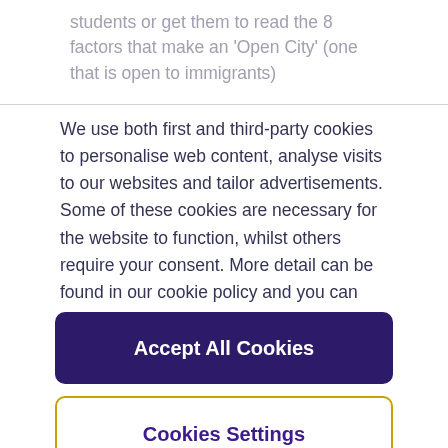students or get them to read the 8 factors that make an 'Open City' (one that is open to immigrants)
We use both first and third-party cookies to personalise web content, analyse visits to our websites and tailor advertisements. Some of these cookies are necessary for the website to function, whilst others require your consent. More detail can be found in our cookie policy and you can tailor your choices in the preference centre.
Accept All Cookies
Cookies Settings